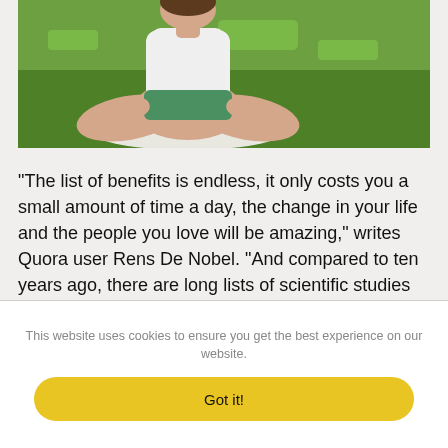[Figure (photo): Person sitting in lotus meditation pose on a white mat on green grass, wearing white top and green shorts, viewed from the torso down]
"The list of benefits is endless, it only costs you a small amount of time a day, the change in your life and the people you love will be amazing," writes Quora user Rens De Nobel. "And compared to ten years ago, there are long lists of scientific studies to back it up."
This website uses cookies to ensure you get the best experience on our website.
Got it!